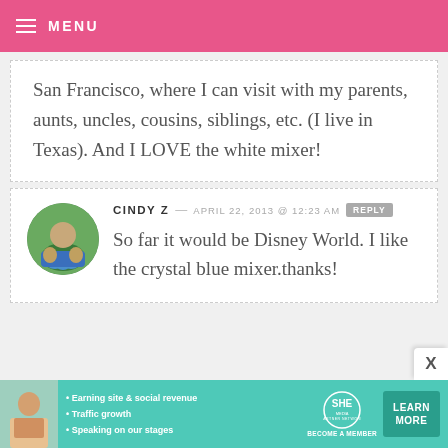MENU
San Francisco, where I can visit with my parents, aunts, uncles, cousins, siblings, etc. (I live in Texas). And I LOVE the white mixer!
CINDY Z — APRIL 22, 2013 @ 12:23 AM REPLY
So far it would be Disney World. I like the crystal blue mixer.thanks!
[Figure (photo): Advertisement banner for SHE Partner Network with a woman photo, bullets about earning site & social revenue, traffic growth, speaking on our stages, and a Learn More button]